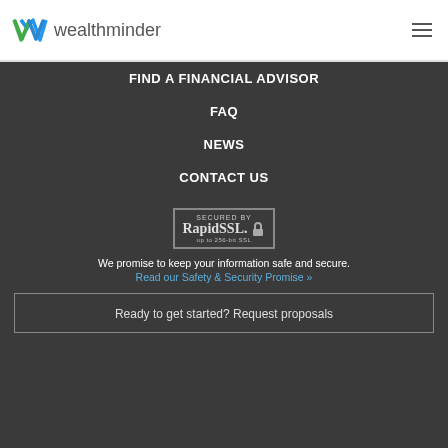[Figure (logo): Wealthminder logo with green and blue W icon followed by text 'wealthminder']
FIND A FINANCIAL ADVISOR
FAQ
NEWS
CONTACT US
[Figure (other): RapidSSL badge - SECURED BY RapidSSL up to 256-bit SSL]
We promise to keep your information safe and secure.
Read our Safety & Security Promise »
Ready to get started? Request proposals